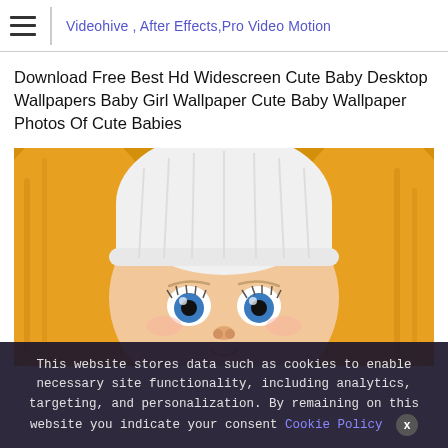Videohive , After Effects,Pro Video Motion
Download Free Best Hd Widescreen Cute Baby Desktop Wallpapers Baby Girl Wallpaper Cute Baby Wallpaper Photos Of Cute Babies
[Figure (photo): Close-up photo of a baby with blue eyes wearing a white knit hat, wrapped in a yellow/orange fluffy towel or blanket]
This website stores data such as cookies to enable necessary site functionality, including analytics, targeting, and personalization. By remaining on this website you indicate your consent Cookie Policy